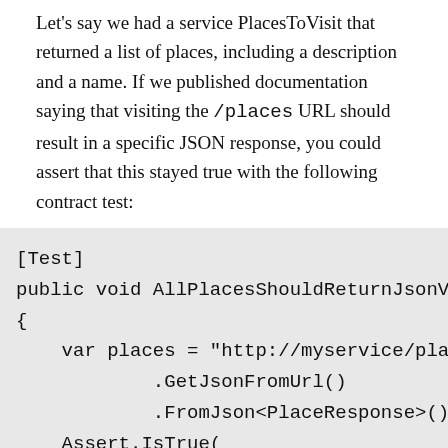Let's say we had a service PlacesToVisit that returned a list of places, including a description and a name. If we published documentation saying that visiting the /places URL should result in a specific JSON response, you could assert that this stayed true with the following contract test:
[Test]
public void AllPlacesShouldReturnJsonViaC
{
    var places = "http://myservice/places"
            .GetJsonFromUrl()
            .FromJson<PlaceResponse>();
    Assert.IsTrue(
            places.Places.Any(p => p.Name.Equal
}